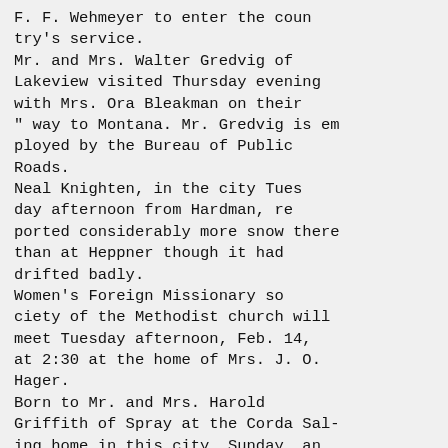F. F. Wehmeyer to enter the country's service.
Mr. and Mrs. Walter Gredvig of Lakeview visited Thursday evening with Mrs. Ora Bleakman on their " way to Montana. Mr. Gredvig is employed by the Bureau of Public Roads.
Neal Knighten, in the city Tuesday afternoon from Hardman, reported considerably more snow there than at Heppner though it had drifted badly.
Women's Foreign Missionary society of the Methodist church will meet Tuesday afternoon, Feb. 14, at 2:30 at the home of Mrs. J. O. Hager.
Born to Mr. and Mrs. Harold Griffith of Spray at the Corda Saling home in this city, Sunday, an 8 pound daughter, Nanette Marie.
Members of the family in from Gooseberry this week announced